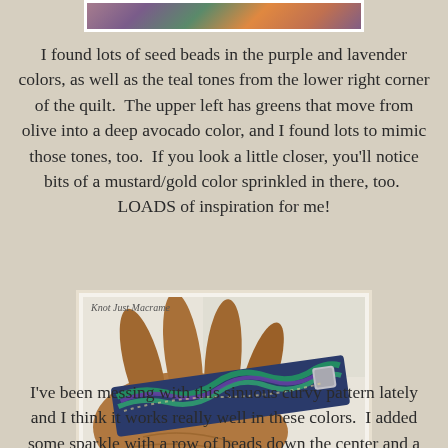[Figure (photo): Partial view of a colorful quilt with purple, lavender, teal, green, and gold colors at the top of the page]
I found lots of seed beads in the purple and lavender colors, as well as the teal tones from the lower right corner of the quilt.  The upper left has greens that move from olive into a deep avocado color, and I found lots to mimic those tones, too.  If you look a little closer, you'll notice bits of a mustard/gold color sprinkled in there, too.  LOADS of inspiration for me!
[Figure (photo): A hand holding a wide beaded bracelet with a sinuous curvy pattern in purple, teal, and green seed beads with a shiny clasp. Labeled 'Knot Just Macrame'.]
I've been messing with this sinuous curvy pattern lately and I think it works really well in these colors.  I added some sparkle with a row of beads down the center and a shiny